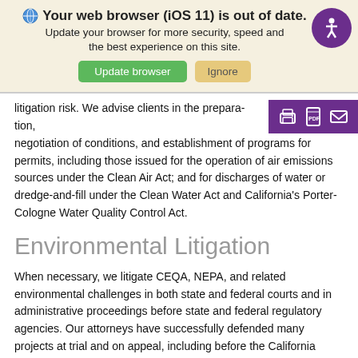Your web browser (iOS 11) is out of date. Update your browser for more security, speed and the best experience on this site. [Update browser] [Ignore]
litigation risk. We advise clients in the preparation, negotiation of conditions, and establishment of programs for permits, including those issued for the operation of air emissions sources under the Clean Air Act; and for discharges of water or dredge-and-fill under the Clean Water Act and California's Porter-Cologne Water Quality Control Act.
Environmental Litigation
When necessary, we litigate CEQA, NEPA, and related environmental challenges in both state and federal courts and in administrative proceedings before state and federal regulatory agencies. Our attorneys have successfully defended many projects at trial and on appeal, including before the California Supreme Court and the Ninth Circuit Court of Appeals.
Air Pollutant Credits and Trading